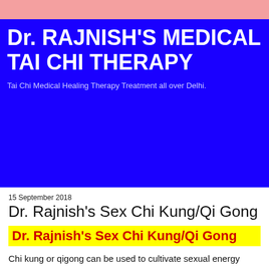Dr. RAJNISH'S MEDICAL TAI CHI THERAPY
Tai Chi Medical Healing Therapy Treatment all over Delhi.
15 September 2018
Dr. Rajnish's Sex Chi Kung/Qi Gong
Dr. Rajnish's Sex Chi Kung/Qi Gong
Chi kung or qigong can be used to cultivate sexual energy